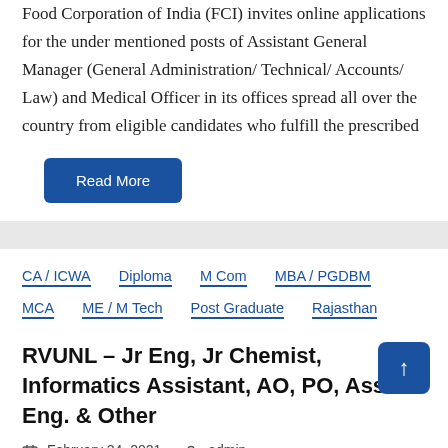Food Corporation of India (FCI) invites online applications for the under mentioned posts of Assistant General Manager (General Administration/ Technical/ Accounts/ Law) and Medical Officer in its offices spread all over the country from eligible candidates who fulfill the prescribed
Read More
CA / ICWA
Diploma
M Com
MBA / PGDBM
MCA
ME / M Tech
Post Graduate
Rajasthan
RVUNL – Jr Eng, Jr Chemist, Informatics Assistant, AO, PO, Asst Eng. & Other
February 24, 2021   admin
Rajasthan Rajya Vidyut Utpadan Nigam Limited